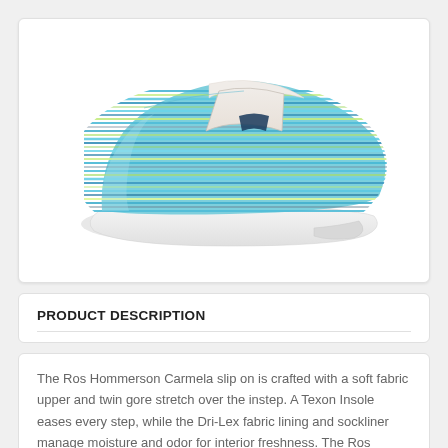[Figure (photo): A blue and green striped slip-on shoe (Ros Hommerson Carmela) with a white rubber sole, photographed from the side against a white background inside a card.]
PRODUCT DESCRIPTION
The Ros Hommerson Carmela slip on is crafted with a soft fabric upper and twin gore stretch over the instep. A Texon Insole eases every step, while the Dri-Lex fabric lining and sockliner manage moisture and odor for interior freshness. The Ros Hommerson? Carmela slip-on sits atop rubber sole